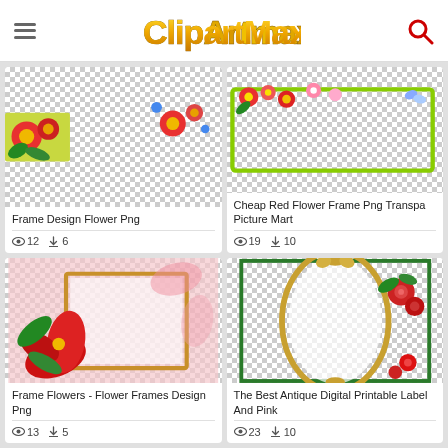ClipArtMax
[Figure (screenshot): ClipArtMax website screenshot showing a grid of clipart images with titles and view/download counts]
Frame Design Flower Png
12 views, 6 downloads
Cheap Red Flower Frame Png Transpa Picture Mart
19 views, 10 downloads
Frame Flowers - Flower Frames Design Png
13 views, 5 downloads
The Best Antique Digital Printable Label And Pink
23 views, 10 downloads